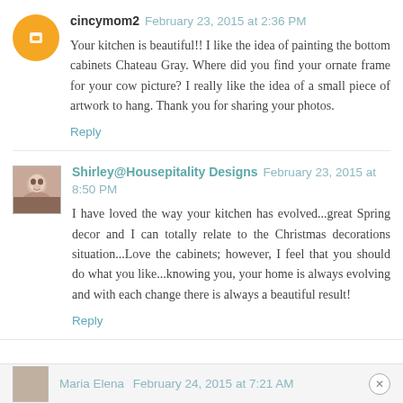cincymom2  February 23, 2015 at 2:36 PM
Your kitchen is beautiful!! I like the idea of painting the bottom cabinets Chateau Gray. Where did you find your ornate frame for your cow picture? I really like the idea of a small piece of artwork to hang. Thank you for sharing your photos.
Reply
Shirley@Housepitality Designs  February 23, 2015 at 8:50 PM
I have loved the way your kitchen has evolved...great Spring decor and I can totally relate to the Christmas decorations situation...Love the cabinets; however, I feel that you should do what you like...knowing you, your home is always evolving and with each change there is always a beautiful result!
Reply
Maria Elena  February 24, 2015 at 7:21 AM